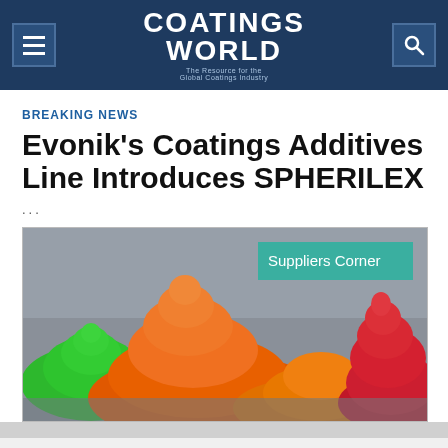COATINGS WORLD — The Resource for the Global Coatings Industry
BREAKING NEWS
Evonik's Coatings Additives Line Introduces SPHERILEX
...
[Figure (photo): Colorful piles of powder pigments (green, orange, red) on a gray surface, with a teal 'Suppliers Corner' badge overlaid in the upper right.]